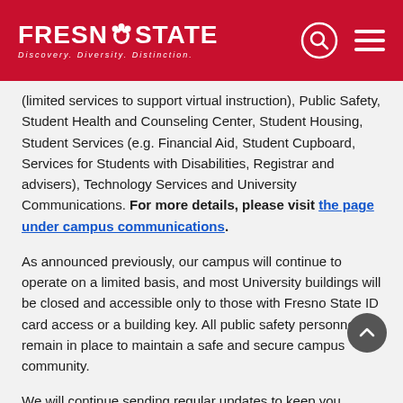[Figure (logo): Fresno State logo with paw print and tagline 'Discovery. Diversity. Distinction.' on red header bar with search and menu icons]
(limited services to support virtual instruction), Public Safety, Student Health and Counseling Center, Student Housing, Student Services (e.g. Financial Aid, Student Cupboard, Services for Students with Disabilities, Registrar and advisers), Technology Services and University Communications. For more details, please visit the page under campus communications.
As announced previously, our campus will continue to operate on a limited basis, and most University buildings will be closed and accessible only to those with Fresno State ID card access or a building key. All public safety personnel will remain in place to maintain a safe and secure campus community.
We will continue sending regular updates to keep you